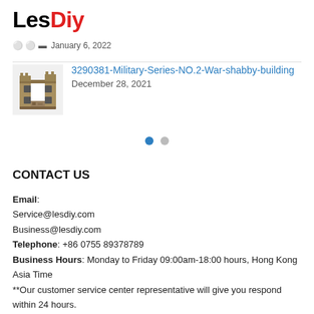LesDiy
January 6, 2022
3290381-Military-Series-NO.2-War-shabby-building
December 28, 2021
CONTACT US
Email:
Service@lesdiy.com
Business@lesdiy.com
Telephone: +86 0755 89378789
Business Hours: Monday to Friday 09:00am-18:00 hours, Hong Kong Asia Time
**Our customer service center representative will give you respond within 24 hours.
**Please make sure your email address is correct so that we can